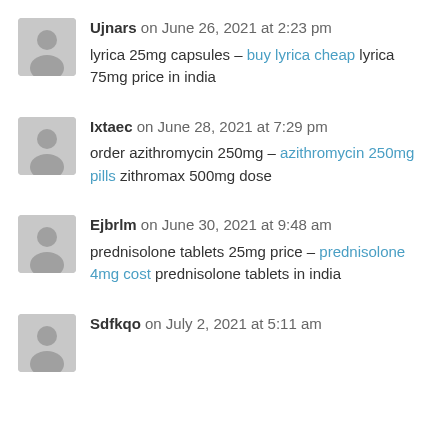Ujnars on June 26, 2021 at 2:23 pm
lyrica 25mg capsules – buy lyrica cheap lyrica 75mg price in india
Ixtaec on June 28, 2021 at 7:29 pm
order azithromycin 250mg – azithromycin 250mg pills zithromax 500mg dose
Ejbrlm on June 30, 2021 at 9:48 am
prednisolone tablets 25mg price – prednisolone 4mg cost prednisolone tablets in india
Sdfkqo on July 2, 2021 at 5:11 am